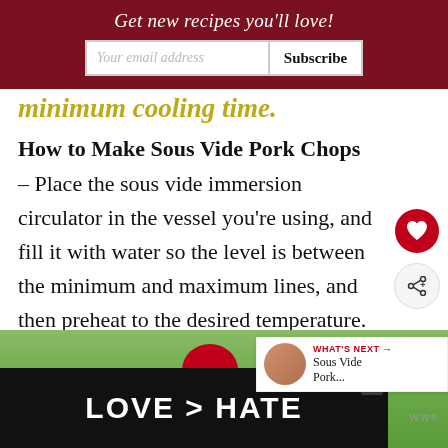Get new recipes you'll love!
How to Make Sous Vide Pork Chops
– Place the sous vide immersion circulator in the vessel you're using, and fill it with water so the level is between the minimum and maximum lines, and then preheat to the desired temperature.
[Figure (photo): Bottom strip showing hands forming heart shape with ad overlay reading LOVE > HATE]
WHAT'S NEXT → Sous Vide Pork...